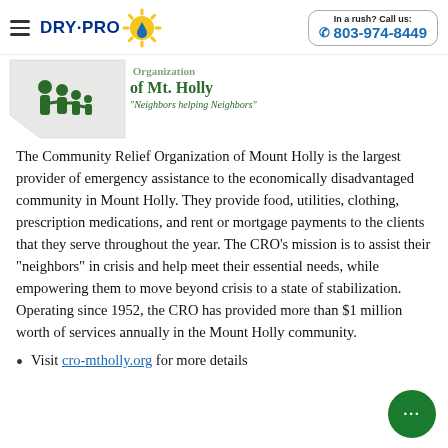DRY-PRO | In a rush? Call us: 803-974-8449
[Figure (logo): Community Relief Organization of Mt. Holly logo with family silhouette and tagline 'Neighbors helping Neighbors']
The Community Relief Organization of Mount Holly is the largest provider of emergency assistance to the economically disadvantaged community in Mount Holly. They provide food, utilities, clothing, prescription medications, and rent or mortgage payments to the clients that they serve throughout the year. The CRO's mission is to assist their "neighbors" in crisis and help meet their essential needs, while empowering them to move beyond crisis to a state of stabilization. Operating since 1952, the CRO has provided more than $1 million worth of services annually in the Mount Holly community.
Visit cro-mtholly.org for more details